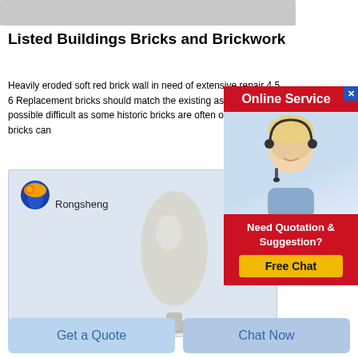[Figure (other): Gray horizontal bar placeholder image at the top of the page]
Listed Buildings Bricks and Brickwork
Heavily eroded soft red brick wall in need of extensive repair 4 5 6 Replacement bricks should match the existing as closely as possible difficult as some historic bricks are often of irregular siz bricks can
[Figure (photo): Rongsheng branded product image showing a white powder shaped into an egg-like mound on a stand, on a light blue background with the Rongsheng globe logo and brand name.]
[Figure (infographic): Online Service popup overlay showing a customer service agent (woman with headset) and a red banner with Online Service text, a Need Quotation & Suggestion section, and a Free Chat yellow button. Includes a blue X close button.]
Get a Quote
Chat Now